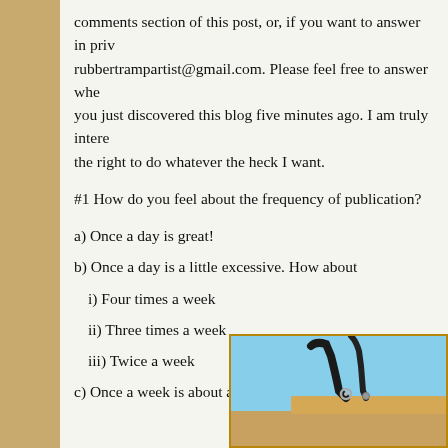comments section of this post, or, if you want to answer in priv rubbertrampartist@gmail.com. Please feel free to answer whe you just discovered this blog five minutes ago. I am truly intere the right to do whatever the heck I want.
#1 How do you feel about the frequency of publication?
a) Once a day is great!
b) Once a day is a little excessive. How about
i) Four times a week
ii) Three times a week
iii) Twice a week
c) Once a week is about all I can take
[Figure (photo): Close-up photo of what appears to be a metal hook or clasp against a blue sky background, with wooden/metal elements visible.]